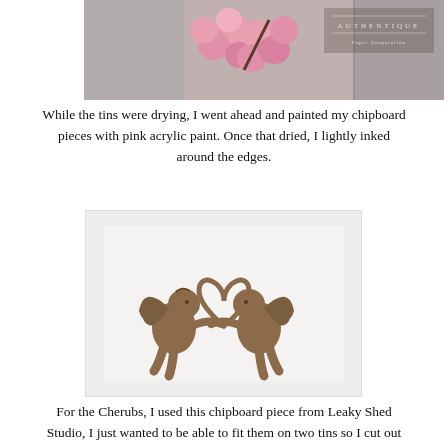[Figure (photo): Top portion of a craft/DIY blog photo showing pink flowers or decorations and an Authentique brand watermark on the right side]
While the tins were drying, I went ahead and painted my chipboard pieces with pink acrylic paint. Once that dried, I lightly inked around the edges.
[Figure (photo): Chipboard piece showing two cherub/angel figures flanking a heart outline, in a brown/tan color, photographed on a white background]
For the Cherubs, I used this chipboard piece from Leaky Shed Studio, I just wanted to be able to fit them on two tins so I cut out the heart. You can find them for purchase HERE